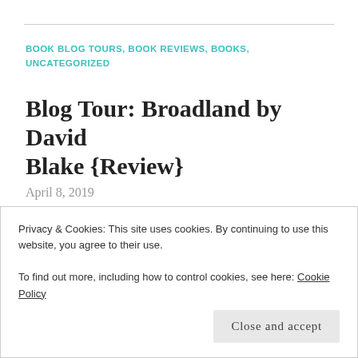BOOK BLOG TOURS, BOOK REVIEWS, BOOKS, UNCATEGORIZED
Blog Tour: Broadland by David Blake {Review}
April 8, 2019
Hey everyone. Today I have a review for the book Broadland by David Blake. I would like to thank
Privacy & Cookies: This site uses cookies. By continuing to use this website, you agree to their use.
To find out more, including how to control cookies, see here: Cookie Policy